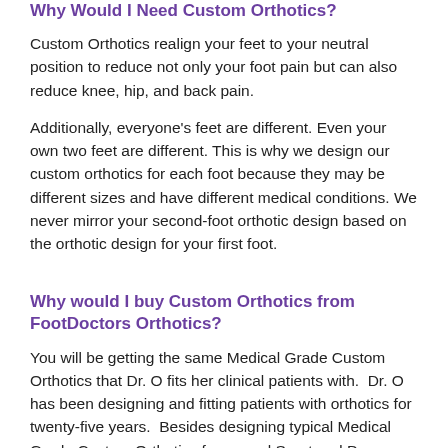Why Would I Need Custom Orthotics?
Custom Orthotics realign your feet to your neutral position to reduce not only your foot pain but can also reduce knee, hip, and back pain.
Additionally, everyone's feet are different. Even your own two feet are different. This is why we design our custom orthotics for each foot because they may be different sizes and have different medical conditions. We never mirror your second-foot orthotic design based on the orthotic design for your first foot.
Why would I buy Custom Orthotics from FootDoctors Orthotics?
You will be getting the same Medical Grade Custom Orthotics that Dr. O fits her clinical patients with.  Dr. O has been designing and fitting patients with orthotics for twenty-five years.  Besides designing typical Medical Grade Custom Orthotics for normal Sport and Dress usages, Dr. O has